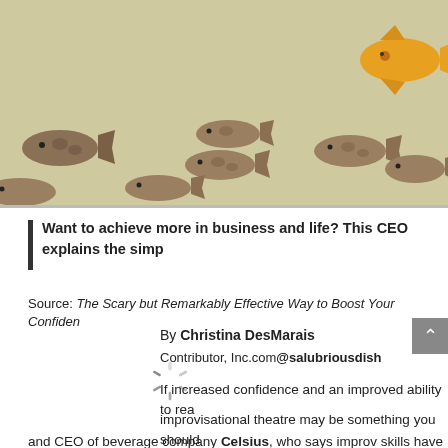[Figure (photo): School of small brown/grey fish swimming in murky water with a large orange/yellow fish in the upper right corner]
Want to achieve more in business and life? This CEO explains the simp
Source: The Scary but Remarkably Effective Way to Boost Your Confidence
By Christina DesMarais
Contributor, Inc.com@salubriousdish
[Figure (illustration): Loading spinner / circular progress indicator]
If increased confidence and an improved ability to rea
improvisational theatre may be something you should
and CEO of beverage company Celsius, who says improv skills have been in